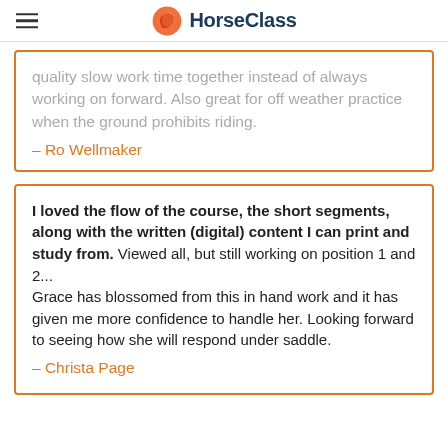HorseClass
quality slow work time together instead of always working on forward. Also great for off weather practice when the ground prohibits riding.
– Ro Wellmaker
I loved the flow of the course, the short segments, along with the written (digital) content I can print and study from. Viewed all, but still working on position 1 and 2...
Grace has blossomed from this in hand work and it has given me more confidence to handle her. Looking forward to seeing how she will respond under saddle.
– Christa Page